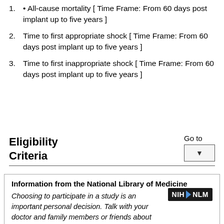All-cause mortality [ Time Frame: From 60 days post implant up to five years ]
Time to first appropriate shock [ Time Frame: From 60 days post implant up to five years ]
Time to first inappropriate shock [ Time Frame: From 60 days post implant up to five years ]
Eligibility Criteria
Go to
Information from the National Library of Medicine
Choosing to participate in a study is an important personal decision. Talk with your doctor and family members or friends about deciding to join a study. To learn more about this study, you or your doctor may contact the study research